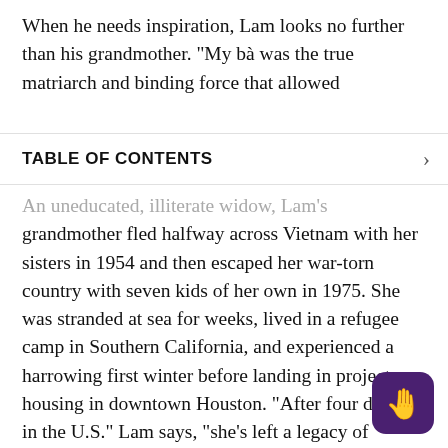When he needs inspiration, Lam looks no further than his grandmother. “My bà was the true matriarch and binding force that allowed
TABLE OF CONTENTS
An uneducated, illiterate widow, Lam’s grandmother fled halfway across Vietnam with her sisters in 1954 and then escaped her war-torn country with seven kids of her own in 1975. She was stranded at sea for weeks, lived in a refugee camp in Southern California, and experienced a harrowing first winter before landing in project housing in downtown Houston. “After four decades in the U.S.” Lam says, “she’s left a legacy of dozens of grandkids and great-grandkids and a thriving Vietnamese community where she was beloved. She passed away still not